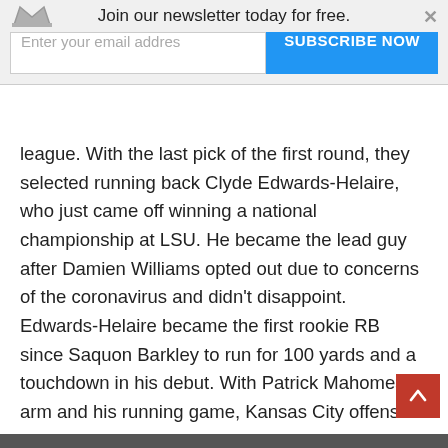Join our newsletter today for free. Enter your email addres [input] SUBSCRIBE NOW [button]
league. With the last pick of the first round, they selected running back Clyde Edwards-Helaire, who just came off winning a national championship at LSU. He became the lead guy after Damien Williams opted out due to concerns of the coronavirus and didn't disappoint. Edwards-Helaire became the first rookie RB since Saquon Barkley to run for 100 yards and a touchdown in his debut. With Patrick Mahomes' arm and his running game, Kansas City offense just got a lot more lethal.
DeAndre Hopkins (WR) – Arizona Cardinals
Week One numbers: 14 receptions and 151 yards